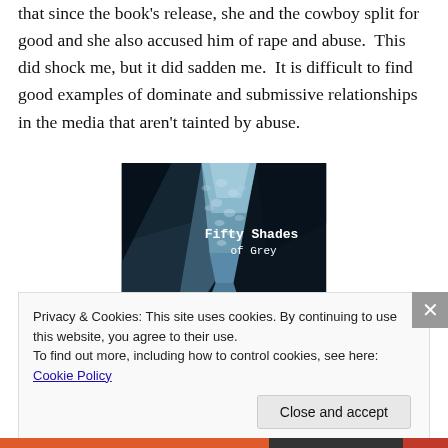that since the book's release, she and the cowboy split for good and she also accused him of rape and abuse.  This did shock me, but it did sadden me.  It is difficult to find good examples of dominate and submissive relationships in the media that aren't tainted by abuse.
[Figure (photo): Book cover of 'Fifty Shades of Grey' showing a silver tie against a dark background with the title text 'Fifty Shades of Grey' in white]
Privacy & Cookies: This site uses cookies. By continuing to use this website, you agree to their use.
To find out more, including how to control cookies, see here: Cookie Policy
Close and accept